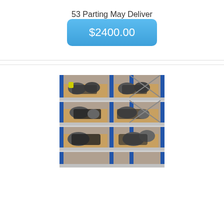53 Parting May Deliver
$2400.00
[Figure (photo): Warehouse shelves with multiple automotive engines or mechanical parts stacked on wooden pallets on metal shelving units with blue vertical supports.]